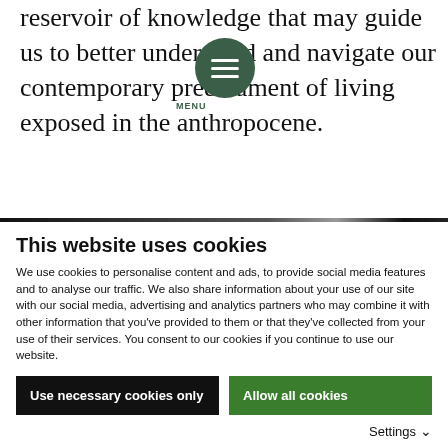reservoir of knowledge that may guide us to better understand and navigate our contemporary predicament of living exposed in the anthropocene.
[Figure (other): Dark green circular menu button with three white horizontal bars and the label MENU below it]
This website uses cookies
We use cookies to personalise content and ads, to provide social media features and to analyse our traffic. We also share information about your use of our site with our social media, advertising and analytics partners who may combine it with other information that you've provided to them or that they've collected from your use of their services. You consent to our cookies if you continue to use our website.
Use necessary cookies only
Allow all cookies
Settings